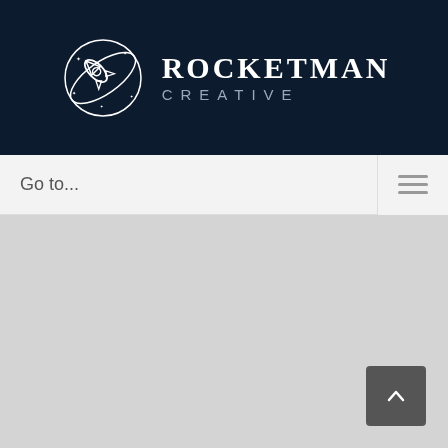[Figure (logo): Rocketman Creative logo: rocket with orbital ring and stars on dark navy background, with 'ROCKETMAN CREATIVE' text]
Go to...
[Figure (other): Gray content area with back-to-top button (chevron up) in bottom right corner]